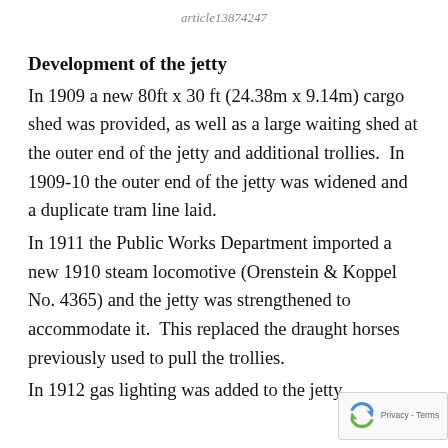article13874247
Development of the jetty
In 1909 a new 80ft x 30 ft (24.38m x 9.14m) cargo shed was provided, as well as a large waiting shed at the outer end of the jetty and additional trollies.  In 1909-10 the outer end of the jetty was widened and a duplicate tram line laid.
In 1911 the Public Works Department imported a new 1910 steam locomotive (Orenstein & Koppel No. 4365) and the jetty was strengthened to accommodate it.  This replaced the draught horses previously used to pull the trollies.
In 1912 gas lighting was added to the jetty.